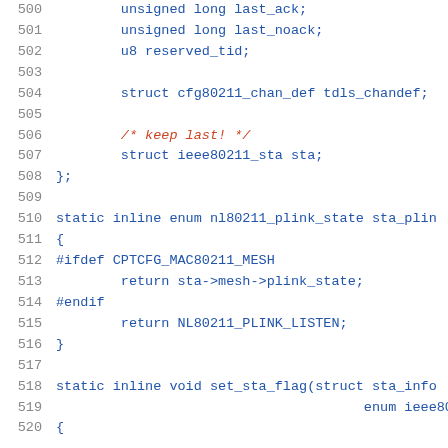Source code listing lines 500-520 showing C struct and inline function definitions for IEEE 80211 station management
500    unsigned long last_ack;
501    unsigned long last_noack;
502    u8 reserved_tid;
503
504    struct cfg80211_chan_def tdls_chandef;
505
506    /* keep last! */
507    struct ieee80211_sta sta;
508 };
509
510 static inline enum nl80211_plink_state sta_plin
511 {
512 #ifdef CPTCFG_MAC80211_MESH
513    return sta->mesh->plink_state;
514 #endif
515    return NL80211_PLINK_LISTEN;
516 }
517
518 static inline void set_sta_flag(struct sta_info
519                             enum ieee80211_s
520 {